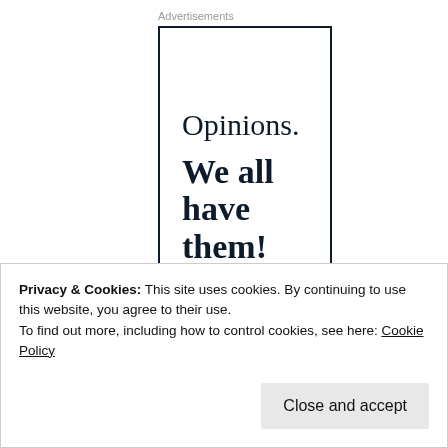Advertisements
[Figure (illustration): Advertisement banner with text 'Opinions. We all have them!' and a pink 'Start a survey' button, displayed in a bordered box]
Privacy & Cookies: This site uses cookies. By continuing to use this website, you agree to their use.
To find out more, including how to control cookies, see here: Cookie Policy
Close and accept